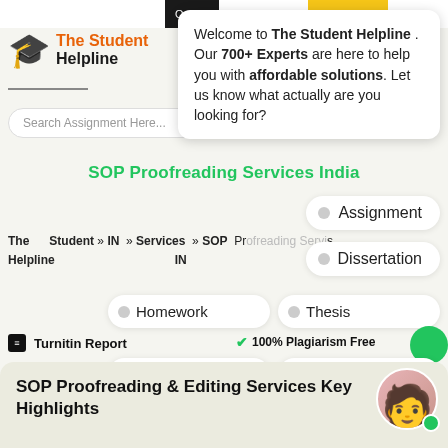[Figure (screenshot): The Student Helpline website screenshot with logo, search bar, chat popup, navigation pills, and bottom card]
Welcome to The Student Helpline . Our 700+ Experts are here to help you with affordable solutions. Let us know what actually are you looking for?
SOP Proofreading Services India
Assignment
The Student Helpline » IN » Services » SOP Proofreading Services IN
Dissertation
Homework
Thesis
Turnitin Report
100% Plagiarism Free
Essay
Report
A++ Guaranteed
Proofreading & Editing
SOP Proofreading & Editing Services Key Highlights